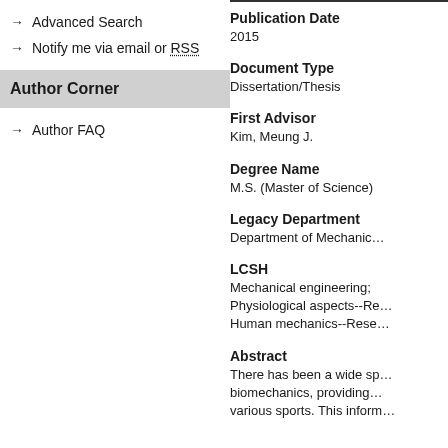→ Advanced Search
→ Notify me via email or RSS
Author Corner
→ Author FAQ
Publication Date
2015
Document Type
Dissertation/Thesis
First Advisor
Kim, Meung J.
Degree Name
M.S. (Master of Science)
Legacy Department
Department of Mechanic…
LCSH
Mechanical engineering; Physiological aspects--Re… Human mechanics--Rese…
Abstract
There has been a wide sp… biomechanics, providing… various sports. This inform…